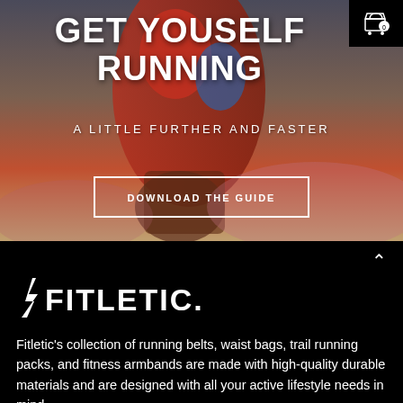[Figure (photo): Hero image of a trail runner in red jacket against a dramatic sky background with text overlay]
GET YOUSELF RUNNING
A LITTLE FURTHER AND FASTER
DOWNLOAD THE GUIDE
[Figure (logo): Fitletic brand logo with lightning bolt and FITLETIC text in white on black background]
Fitletic's collection of running belts, waist bags, trail running packs, and fitness armbands are made with high-quality durable materials and are designed with all your active lifestyle needs in mind.